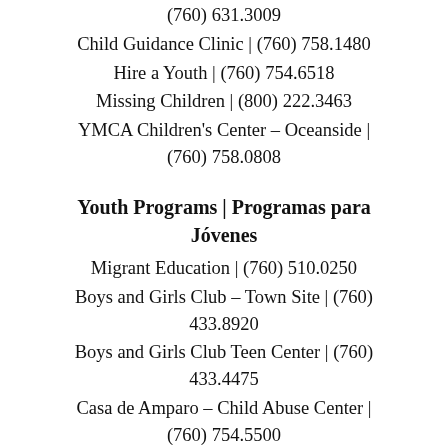(760) 631.3009
Child Guidance Clinic | (760) 758.1480
Hire a Youth | (760) 754.6518
Missing Children | (800) 222.3463
YMCA Children's Center – Oceanside | (760) 758.0808
Youth Programs | Programas para Jóvenes
Migrant Education | (760) 510.0250
Boys and Girls Club – Town Site | (760) 433.8920
Boys and Girls Club Teen Center | (760) 433.4475
Casa de Amparo – Child Abuse Center | (760) 754.5500
Childcare Resource Services (referrals) |